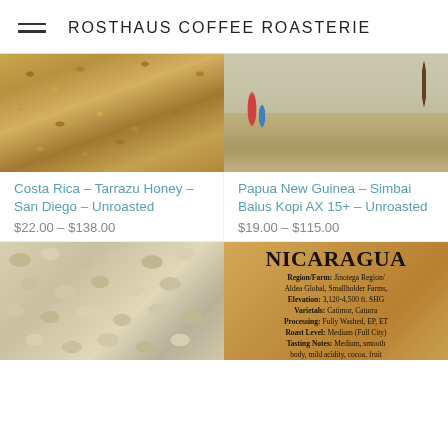ROSTHAUS COFFEE ROASTERIE
[Figure (photo): Close-up of golden/tan dried coffee beans spread out, Costa Rica Tarrazu Honey process]
Costa Rica - Tarrazu Honey - San Diego - Unroasted
$22.00 - $138.00
[Figure (photo): Dusty field scene with people in the background, Papua New Guinea coffee farm]
Papua New Guinea - Simbai Balus Kopi AX 15+ - Unroasted
$19.00 - $115.00
[Figure (photo): Close-up of green/white unroasted coffee beans piled together]
[Figure (infographic): Nicaragua coffee label on kraft paper background. Shows: Region/Farm: Jinotega Region/Aldea Global, Smallholder Farms, Elevation: 3,120-4,500 ft. SHG, Varietals: Catimor, Caturra, Processing: Fully Washed, EP, ET, Roast Level: Medium (Full City), Tasting Notes: Medium, smooth body, mild acidity, cocoa, fruit]